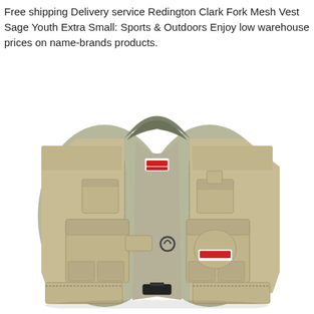Free shipping Delivery service Redington Clark Fork Mesh Vest Sage Youth Extra Small: Sports & Outdoors Enjoy low warehouse prices on name-brands products.
[Figure (photo): Photo of a Redington Clark Fork Mesh Vest in sage/khaki color, youth extra small size. The fishing vest features multiple front pockets, mesh panels on the sides and back, a gray/olive ribbed collar, a front buckle closure, a D-ring, and a Redington logo label on the front right chest.]